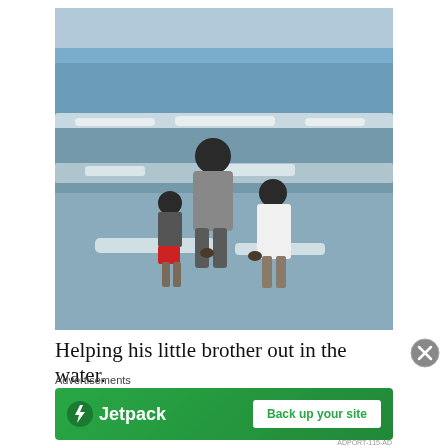[Figure (photo): Three children standing in ocean waves at a beach, viewed from behind. An older child in a gray shirt stands tall, with two younger children beside them — one in red/dark shorts and one in a white shirt. They appear to be holding hands in the surf.]
Helping his little brother out in the water.
Advertisements
[Figure (infographic): Jetpack advertisement banner with green background. Left side shows Jetpack logo (lightning bolt icon) and 'Jetpack' text. Right side shows a white button labeled 'Back up your site'.]